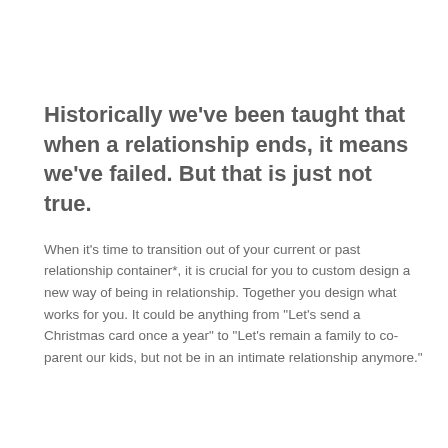Historically we've been taught that when a relationship ends, it means we've failed. But that is just not true.
When it's time to transition out of your current or past relationship container*, it is crucial for you to custom design a new way of being in relationship. Together you design what works for you. It could be anything from "Let's send a Christmas card once a year" to "Let's remain a family to co-parent our kids, but not be in an intimate relationship anymore."